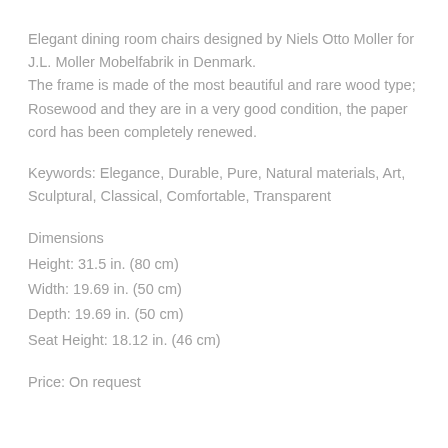Elegant dining room chairs designed by Niels Otto Moller for J.L. Moller Mobelfabrik in Denmark. The frame is made of the most beautiful and rare wood type; Rosewood and they are in a very good condition, the paper cord has been completely renewed.
Keywords: Elegance, Durable, Pure, Natural materials, Art, Sculptural, Classical, Comfortable, Transparent
Dimensions
Height: 31.5 in. (80 cm)
Width: 19.69 in. (50 cm)
Depth: 19.69 in. (50 cm)
Seat Height: 18.12 in. (46 cm)
Price: On request